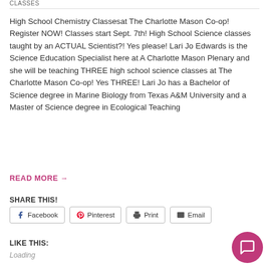CLASSES
High School Chemistry Classesat The Charlotte Mason Co-op! Register NOW! Classes start Sept. 7th! High School Science classes taught by an ACTUAL Scientist?! Yes please! Lari Jo Edwards is the Science Education Specialist here at A Charlotte Mason Plenary and she will be teaching THREE high school science classes at The Charlotte Mason Co-op! Yes THREE! Lari Jo has a Bachelor of Science degree in Marine Biology from Texas A&M University and a Master of Science degree in Ecological Teaching
READ MORE →
SHARE THIS!
Facebook
Pinterest
Print
Email
LIKE THIS:
Loading